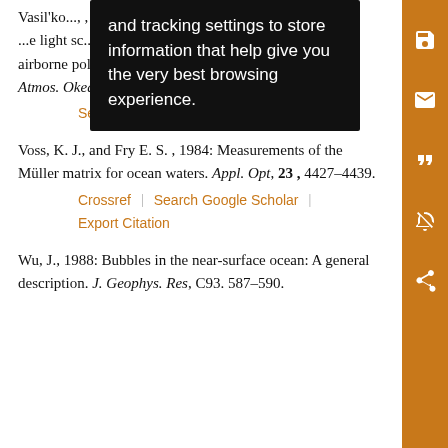[Figure (screenshot): Black tooltip overlay with white text reading 'and tracking settings to store information that help give you the very best browsing experience.']
Vasil'ko..., 1997: D... light sc... of an airborne polarization from. Izv. Akad. Nauk SSSR, Fiz. Atmos. Okeana, 33, 563–569.
Search Google Scholar | Export Citation
Voss, K. J., and Fry E. S. , 1984: Measurements of the Müller matrix for ocean waters. Appl. Opt, 23, 4427–4439.
Crossref | Search Google Scholar | Export Citation
Wu, J., 1988: Bubbles in the near-surface ocean: A general description. J. Geophys. Res, C93. 587–590.